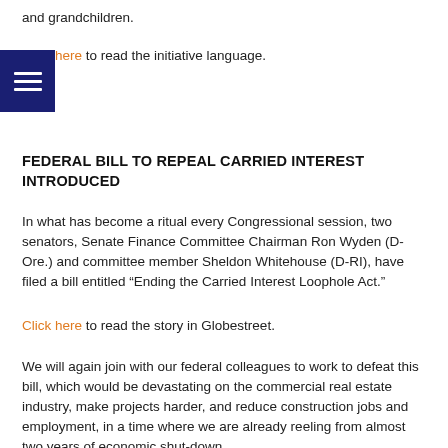and grandchildren.
Click here to read the initiative language.
FEDERAL BILL TO REPEAL CARRIED INTEREST INTRODUCED
In what has become a ritual every Congressional session, two senators, Senate Finance Committee Chairman Ron Wyden (D-Ore.) and committee member Sheldon Whitehouse (D-RI), have filed a bill entitled “Ending the Carried Interest Loophole Act.”
Click here to read the story in Globestreet.
We will again join with our federal colleagues to work to defeat this bill, which would be devastating on the commercial real estate industry, make projects harder, and reduce construction jobs and employment, in a time where we are already reeling from almost two years of economic shut-down.